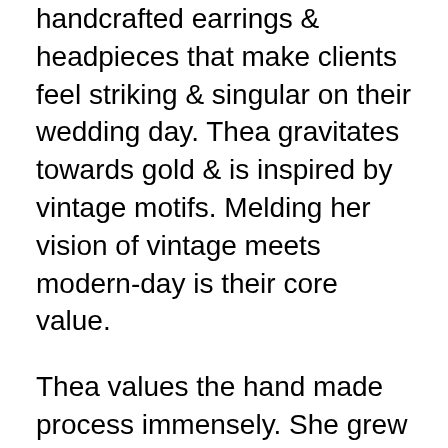handcrafted earrings & headpieces that make clients feel striking & singular on their wedding day. Thea gravitates towards gold & is inspired by vintage motifs. Melding her vision of vintage meets modern-day is their core value.
Thea values the hand made process immensely. She grew up in a family that valued the artisan, & is a big believer in encouraging the world to find their way back to supporting the artisans of this world & the craft that is involved in creating beautiful pieces of art. Additionally, Hushed Commotion makes each piece to order, cutting down on needless waste; using almost exclusively recyclable packaging, & their studio is fit with solar panels to reduce